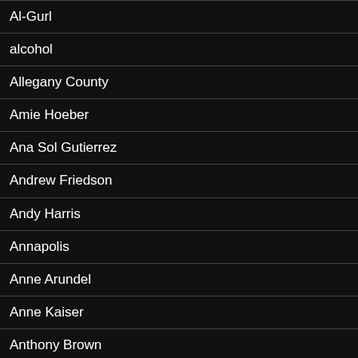Al-Gurl
alcohol
Allegany County
Amie Hoeber
Ana Sol Gutierrez
Andrew Friedson
Andy Harris
Annapolis
Anne Arundel
Anne Kaiser
Anthony Brown
anti-Semitism
Apple Ballot